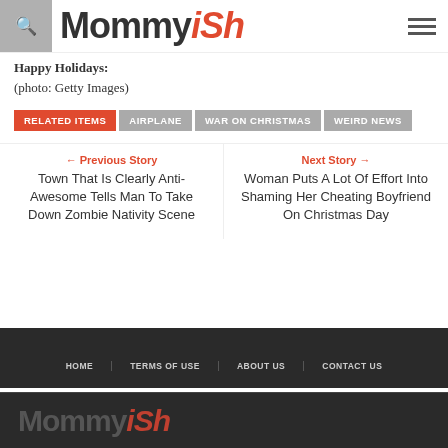Mommyish
Happy Holidays:
(photo: Getty Images)
RELATED ITEMS  AIRPLANE  WAR ON CHRISTMAS  WEIRD NEWS
← Previous Story
Town That Is Clearly Anti-Awesome Tells Man To Take Down Zombie Nativity Scene
Next Story →
Woman Puts A Lot Of Effort Into Shaming Her Cheating Boyfriend On Christmas Day
HOME  TERMS OF USE  ABOUT US  CONTACT US
Mommyish